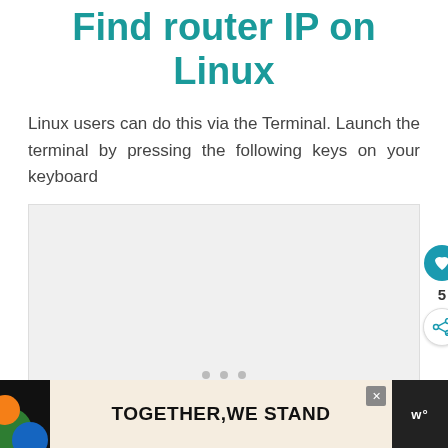Find router IP on Linux
Linux users can do this via the Terminal. Launch the terminal by pressing the following keys on your keyboard
[Figure (screenshot): A large light gray placeholder image area with three small gray dots at the bottom center, representing a screenshot carousel or image placeholder. A like button (heart icon, teal), a count of 5, and a share button are visible on the right side.]
[Figure (other): Advertisement banner at bottom: dark background with colorful art on left, cream/beige center area reading TOGETHER,WE STAND in bold black text, close (X) button, and a dark logo area on the right showing 'w°'.]